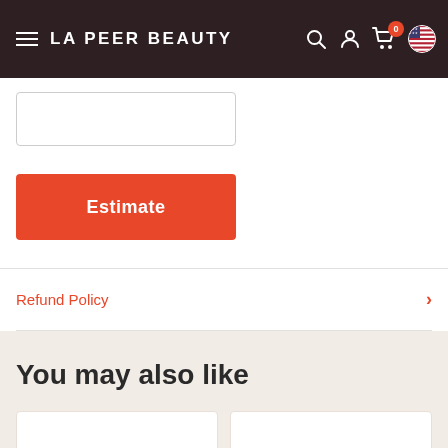LA PEER BEAUTY
[Figure (screenshot): Zip code input field (empty text input box)]
[Figure (screenshot): Orange Estimate button]
Refund Policy
You may also like
[Figure (screenshot): Two white product card placeholders in the 'You may also like' section]